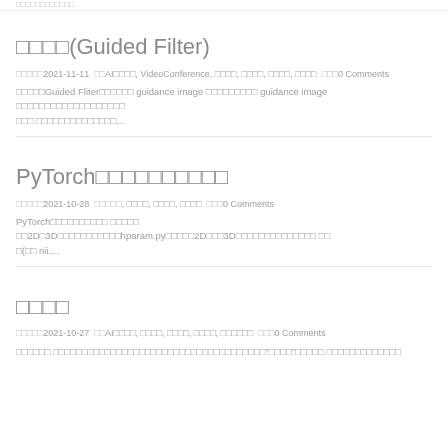□□□□(Guided Filter)
□□□□□2021-11-11  □□AI□□□□, VideoConference, □□□□, □□□□, □□□□, □□□□  □□□0 Comments
□□□□□Guided Fliter□□□□□□ guidance image □□□□□□□□□ guidance image □□□□□□□□□□□□□□□□□□□ □□□□□□□□□□□□□□...
PyTorch□□□□□□□□□□
□□□□□2021-10-28  □□□□□, □□□□, □□□□, □□□□  □□□0 Comments
PyTorch□□□□□□□□□□ □□□□□ □□2D□3D□□□□□□□□□□□hparam.py□□□□□2D□□□3D□□□□□□□□□□□□□□ □□(□□ nii....
□□□□
□□□□□2021-10-27  □□AI□□□□, □□□□, □□□□, □□□□, □□□□□□  □□□0 Comments
□□□□□□ □□□□□□□□□□□□□□□□□□□□□□□□□□□□□□□□□□□□□"□□□□"□□□□□ □□□□□□□□□□□□□